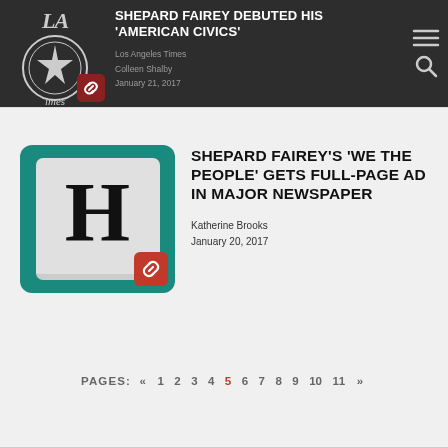SHEPARD FAIREY DEBUTED HIS 'AMERICAN CIVICS' — Los Angeles Times, Colleen Shalby, January 21, 2017
SHEPARD FAIREY'S 'WE THE PEOPLE' GETS FULL-PAGE AD IN MAJOR NEWSPAPER
Katherine Brooks
January 20, 2017
PAGES: « 1 2 3 4 5 6 7 8 9 10 11 »